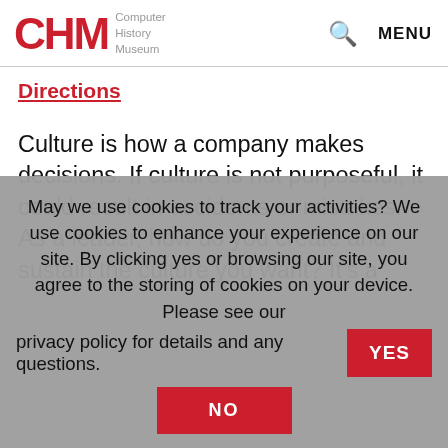CHM Computer History Museum | Search | MENU
Directions
Culture is how a company makes decisions. If culture is not purposeful, it could result in accidents or mistakes. As a leader, how do you create and sustain the culture you want? It’s a
May we use cookies to track your activities? We use cookies to enhance your experience on our site. By clicking yes or browsing our site, you agree to the storing of cookies on your device. Please see our privacy policy for details and any questions. YES NO